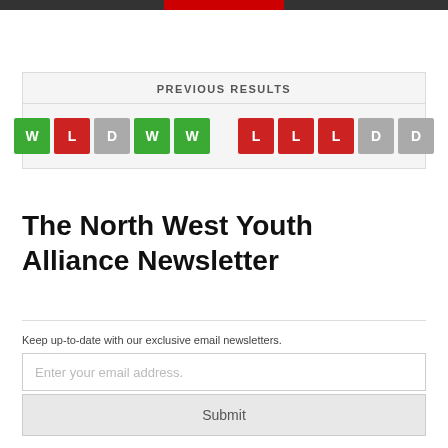PREVIOUS RESULTS
[Figure (infographic): Two groups of letter badges showing match results: Group 1: W (green), L (red), D (gray), W (green), W (green); Group 2: L (red), L (red), L (red), D (gray), D (gray)]
The North West Youth Alliance Newsletter
Keep up-to-date with our exclusive email newsletters.
Enter your email address.
Submit